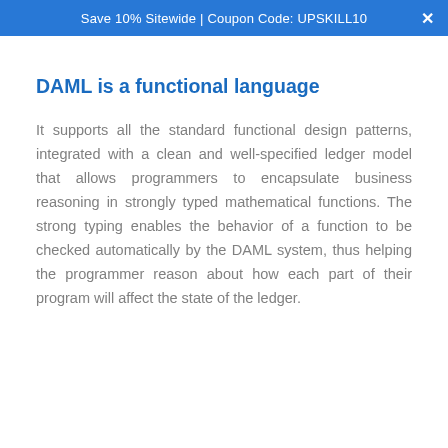Save 10% Sitewide | Coupon Code: UPSKILL10
DAML is a functional language
It supports all the standard functional design patterns, integrated with a clean and well-specified ledger model that allows programmers to encapsulate business reasoning in strongly typed mathematical functions. The strong typing enables the behavior of a function to be checked automatically by the DAML system, thus helping the programmer reason about how each part of their program will affect the state of the ledger.